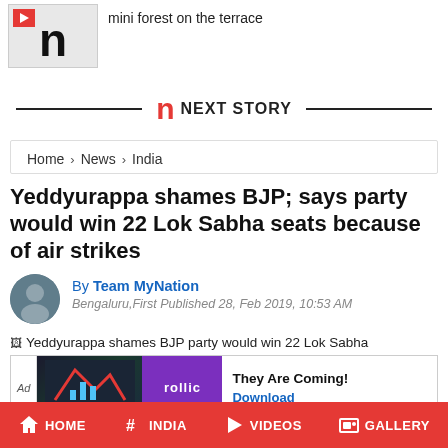[Figure (screenshot): Video thumbnail with play button and 'n' logo on gray background]
mini forest on the terrace
[Figure (logo): Next Story divider with red 'n' logo and NEXT STORY text flanked by horizontal lines]
Home > News > India
Yeddyurappa shames BJP; says party would win 22 Lok Sabha seats because of air strikes
By Team MyNation
Bengaluru,First Published 28, Feb 2019, 10:53 AM
[Figure (photo): Broken image placeholder: Yeddyurappa shames BJP party would win 22 Lok Sabha]
[Figure (screenshot): Ad: Rollic game ad - They Are Coming! Download]
HOME  INDIA  VIDEOS  GALLERY